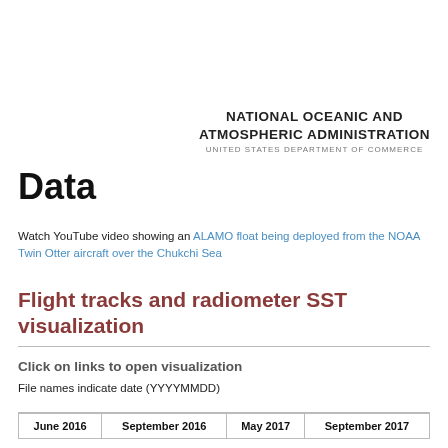NATIONAL OCEANIC AND ATMOSPHERIC ADMINISTRATION
UNITED STATES DEPARTMENT OF COMMERCE
Data
Watch YouTube video showing an ALAMO float being deployed from the NOAA Twin Otter aircraft over the Chukchi Sea
Flight tracks and radiometer SST visualization
Click on links to open visualization
File names indicate date (YYYYMMDD)
| June 2016 | September 2016 | May 2017 | September 2017 |
| --- | --- | --- | --- |